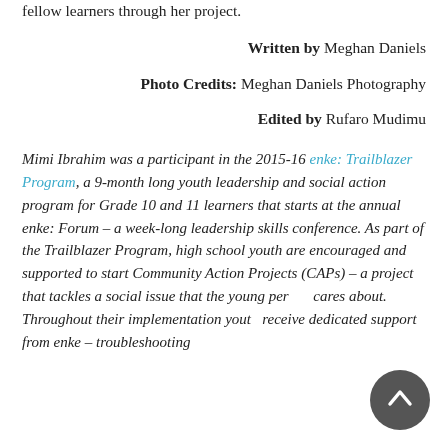fellow learners through her project.
Written by Meghan Daniels
Photo Credits: Meghan Daniels Photography
Edited by Rufaro Mudimu
Mimi Ibrahim was a participant in the 2015-16 enke: Trailblazer Program, a 9-month long youth leadership and social action program for Grade 10 and 11 learners that starts at the annual enke: Forum – a week-long leadership skills conference. As part of the Trailblazer Program, high school youth are encouraged and supported to start Community Action Projects (CAPs) – a project that tackles a social issue that the young person cares about. Throughout their implementation youth receive dedicated support from enke – troubleshooting